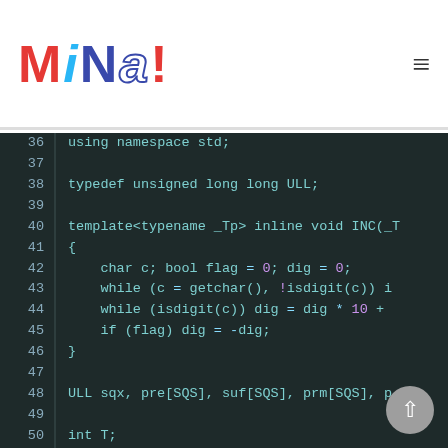MiNa!
[Figure (screenshot): C++ source code editor showing lines 36–52 with dark theme (teal syntax highlighting). Code includes: using namespace std; typedef unsigned long long ULL; template<typename _Tp> inline void INC(_T; { char c; bool flag = 0; dig = 0; while (c = getchar(), !isdigit(c)) i; while (isdigit(c)) dig = dig * 10 +; if (flag) dig = -dig; } ULL sqx, pre[SQS], suf[SQS], prm[SQS], p; int T; void E_Sieve(ULL x)]